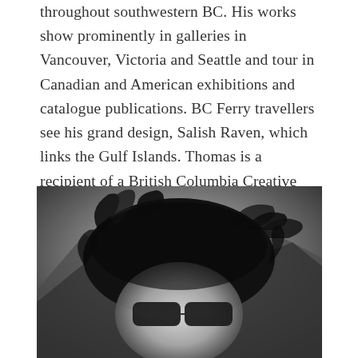throughout southwestern BC. His works show prominently in galleries in Vancouver, Victoria and Seattle and tour in Canadian and American exhibitions and catalogue publications. BC Ferry travellers see his grand design, Salish Raven, which links the Gulf Islands. Thomas is a recipient of a British Columbia Creative Achievement Award and a City of Richmond Cultural Leadership Award Finalist.
[Figure (photo): Black and white close-up photograph of a person with dark hair blowing in the wind and wearing sunglasses, with mountains in the background.]